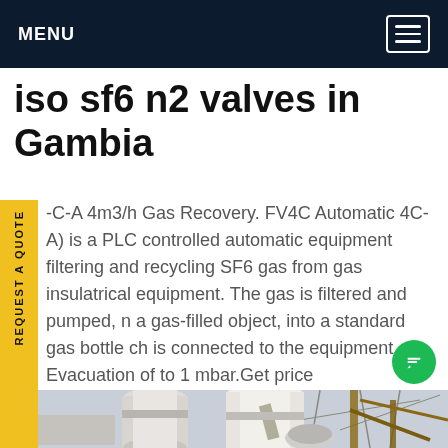MENU
iso sf6 n2 valves in Gambia
-C-A 4m3/h Gas Recovery. FV4C Automatic 4C-A) is a PLC controlled automatic equipment filtering and recycling SF6 gas from gas insulated electrical equipment. The gas is filtered and pumped, in a gas-filled object, into a standard gas bottle which is connected to the equipment. Evacuation of to 1 mbar.Get price
[Figure (photo): Industrial electrical equipment / substation hardware, showing large white insulated pipes and metal structural components against a sky background.]